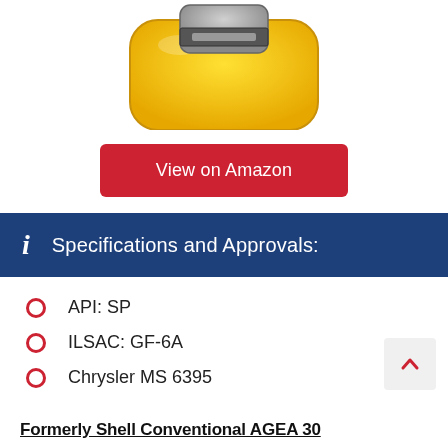[Figure (photo): Partial view of a yellow motor oil container/bottle from the top, with a grey cap visible.]
View on Amazon
Specifications and Approvals:
API: SP
ILSAC: GF-6A
Chrysler MS 6395
Formerly Shell Conventional AGEA 30